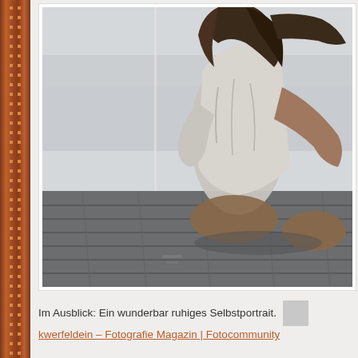[Figure (photo): A person with long hair sitting on a wooden dock, viewed from behind/side, wearing a white loose garment. Misty water visible in background. Moody, atmospheric photograph in cool tones.]
Im Ausblick: Ein wunderbar ruhiges Selbstportrait. kwerfeldein – Fotografie Magazin | Fotocommunity